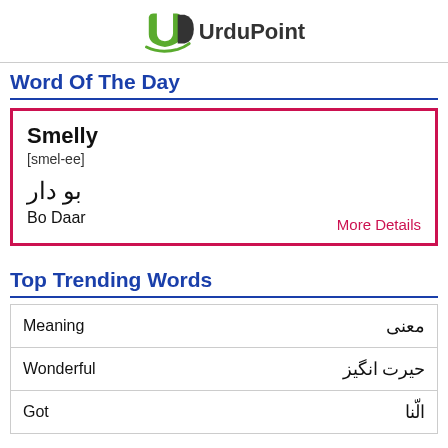[Figure (logo): UrduPoint logo with green and dark circular U-P monogram and brand name UrduPoint]
Word Of The Day
Smelly [smel-ee] بو دار Bo Daar More Details
Top Trending Words
| Meaning | معنی |
| --- | --- |
| Wonderful | حیرت انگیز |
| Got | الّنا |